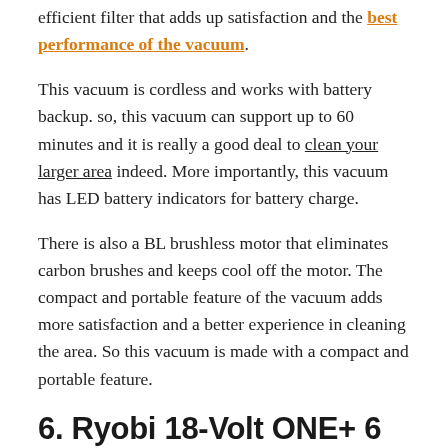efficient filter that adds up satisfaction and the best performance of the vacuum.
This vacuum is cordless and works with battery backup. so, this vacuum can support up to 60 minutes and it is really a good deal to clean your larger area indeed. More importantly, this vacuum has LED battery indicators for battery charge.
There is also a BL brushless motor that eliminates carbon brushes and keeps cool off the motor. The compact and portable feature of the vacuum adds more satisfaction and a better experience in cleaning the area. So this vacuum is made with a compact and portable feature.
6. Ryobi 18-Volt ONE+ 6 Gal. Cordless Wet/Dry Vacuum